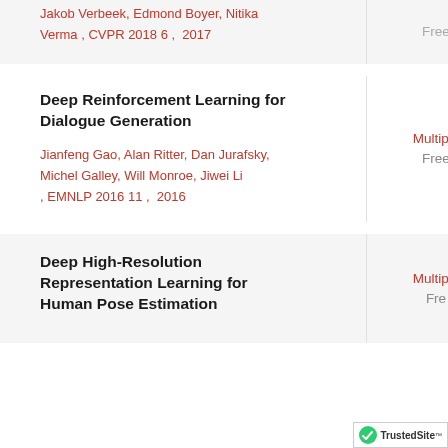Jakob Verbeek, Edmond Boyer, Nitika Verma , CVPR 2018 6 ,  2017
Free
Deep Reinforcement Learning for Dialogue Generation
Jianfeng Gao, Alan Ritter, Dan Jurafsky, Michel Galley, Will Monroe, Jiwei Li , EMNLP 2016 11 ,  2016
Multiple
Free
Deep High-Resolution Representation Learning for Human Pose Estimation
Multiple
Fre...